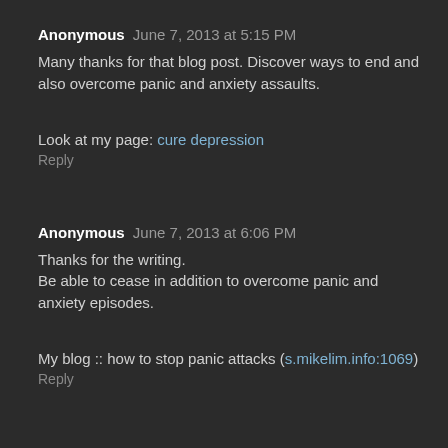Anonymous June 7, 2013 at 5:15 PM
Many thanks for that blog post. Discover ways to end and also overcome panic and anxiety assaults.
Look at my page: cure depression
Reply
Anonymous June 7, 2013 at 6:06 PM
Thanks for the writing.
Be able to cease in addition to overcome panic and anxiety episodes.
My blog :: how to stop panic attacks (s.mikelim.info:1069)
Reply